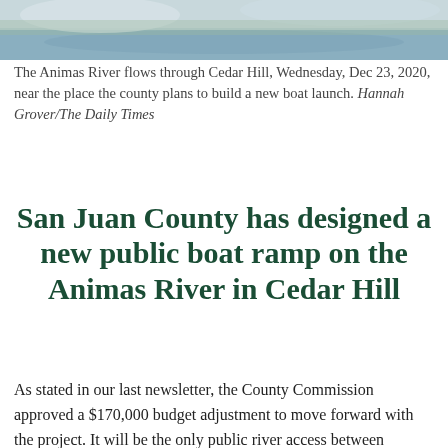[Figure (photo): Aerial or distant view of the Animas River flowing through Cedar Hill, showing water and surrounding landscape.]
The Animas River flows through Cedar Hill, Wednesday, Dec 23, 2020, near the place the county plans to build a new boat launch. Hannah Grover/The Daily Times
San Juan County has designed a new public boat ramp on the Animas River in Cedar Hill
As stated in our last newsletter, the County Commission approved a $170,000 budget adjustment to move forward with the project. It will be the only public river access between Durango, CO and Aztec, NM located on the former D&RGW Rail right of way near the highway bridge on US 550